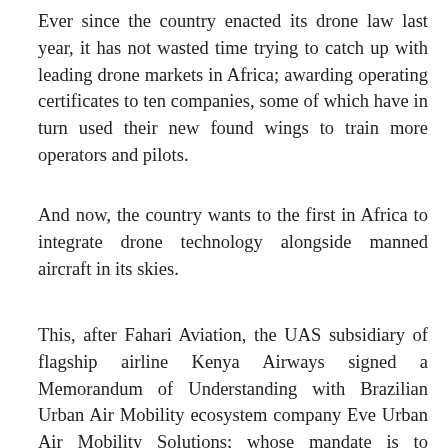Ever since the country enacted its drone law last year, it has not wasted time trying to catch up with leading drone markets in Africa; awarding operating certificates to ten companies, some of which have in turn used their new found wings to train more operators and pilots.
And now, the country wants to the first in Africa to integrate drone technology alongside manned aircraft in its skies.
This, after Fahari Aviation, the UAS subsidiary of flagship airline Kenya Airways signed a Memorandum of Understanding with Brazilian Urban Air Mobility ecosystem company Eve Urban Air Mobility Solutions; whose mandate is to develop operational models for the wide-accessibility of Urban Air Mobility (UAM) to